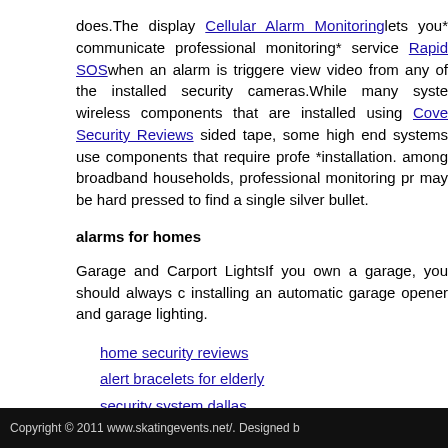does. The display Cellular Alarm Monitoring lets you* communicate professional monitoring* service Rapid SOS when an alarm is triggered view video from any of the installed security cameras. While many systems wireless components that are installed using Cove Security Reviews sided tape, some high end systems use components that require professional *installation. among broadband households, professional monitoring pr may be hard pressed to find a single silver bullet.
alarms for homes
Garage and Carport LightsIf you own a garage, you should always consider installing an automatic garage opener and garage lighting.
home security reviews
alert bracelets for elderly
security system dallas
security camera houston
security for the home
FREE INSTALLATION SECURITY SYSTEM
Reliance First Capital, LLCReliance Mortgage CompanyReliant Bank Mortgage ServicesReliant Mortgage/Hanna Family BusinessReliant LendersRepublic Mortgage Home LoansResidential Finance Corp.
Copyright © 2011 www.skatingevents.net/. Designed b